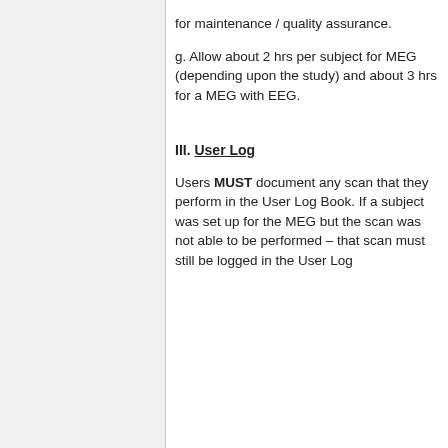for maintenance / quality assurance.
g. Allow about 2 hrs per subject for MEG (depending upon the study) and about 3 hrs for a MEG with EEG.
III. User Log
Users MUST document any scan that they perform in the User Log Book. If a subject was set up for the MEG but the scan was not able to be performed – that scan must still be logged in the User Log